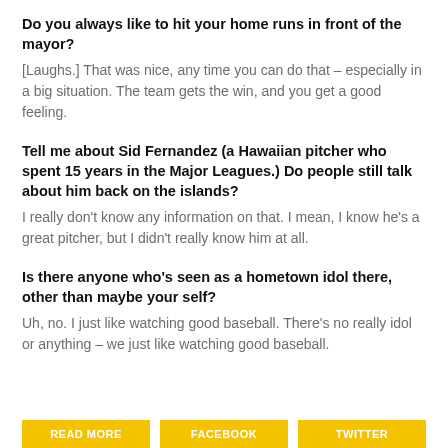Do you always like to hit your home runs in front of the mayor?
[Laughs.] That was nice, any time you can do that – especially in a big situation. The team gets the win, and you get a good feeling.
Tell me about Sid Fernandez (a Hawaiian pitcher who spent 15 years in the Major Leagues.) Do people still talk about him back on the islands?
I really don't know any information on that. I mean, I know he's a great pitcher, but I didn't really know him at all.
Is there anyone who's seen as a hometown idol there, other than maybe your self?
Uh, no. I just like watching good baseball. There's no really idol or anything – we just like watching good baseball.